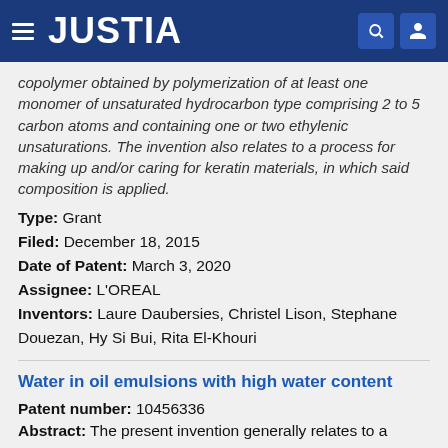JUSTIA
copolymer obtained by polymerization of at least one monomer of unsaturated hydrocarbon type comprising 2 to 5 carbon atoms and containing one or two ethylenic unsaturations. The invention also relates to a process for making up and/or caring for keratin materials, in which said composition is applied.
Type: Grant
Filed: December 18, 2015
Date of Patent: March 3, 2020
Assignee: L'OREAL
Inventors: Laure Daubersies, Christel Lison, Stephane Douezan, Hy Si Bui, Rita El-Khouri
Water in oil emulsions with high water content
Patent number: 10456336
Abstract: The present invention generally relates to a water-in-oil emulsion comprising at least one oil-soluble